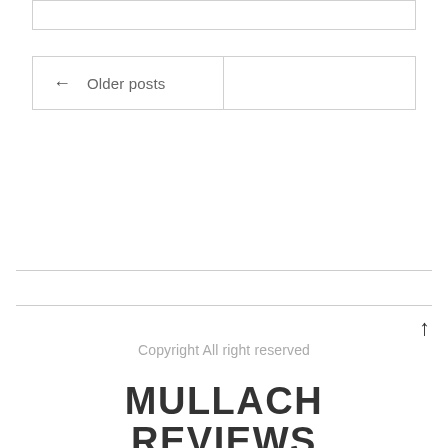[Figure (screenshot): Top partial box/border from previous content]
← Older posts
Copyright All right reserved
MULLACH REVIEWS